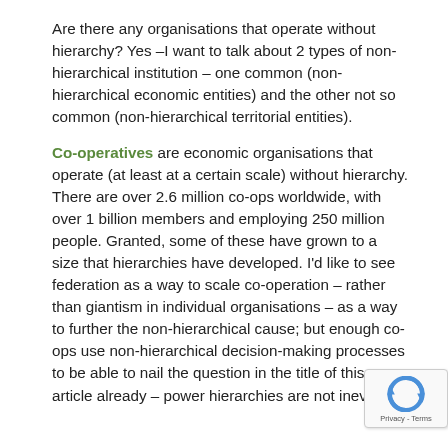Are there any organisations that operate without hierarchy? Yes –I want to talk about 2 types of non-hierarchical institution – one common (non-hierarchical economic entities) and the other not so common (non-hierarchical territorial entities).
Co-operatives are economic organisations that operate (at least at a certain scale) without hierarchy. There are over 2.6 million co-ops worldwide, with over 1 billion members and employing 250 million people. Granted, some of these have grown to a size that hierarchies have developed. I'd like to see federation as a way to scale co-operation – rather than giantism in individual organisations – as a way to further the non-hierarchical cause; but enough co-ops use non-hierarchical decision-making processes to be able to nail the question in the title of this article already – power hierarchies are not inevitable.